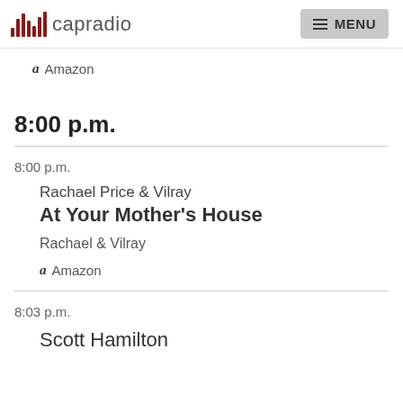capradio  MENU
Amazon
8:00 p.m.
8:00 p.m.
Rachael Price & Vilray
At Your Mother's House
Rachael & Vilray
Amazon
8:03 p.m.
Scott Hamilton